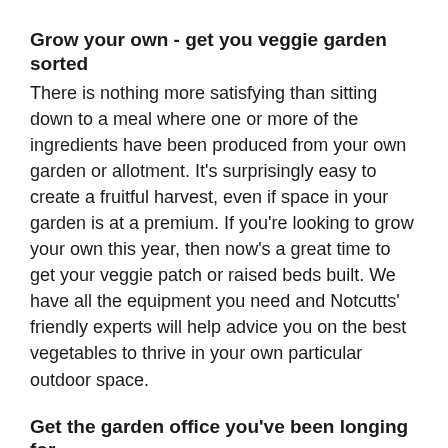Grow your own - get you veggie garden sorted
There is nothing more satisfying than sitting down to a meal where one or more of the ingredients have been produced from your own garden or allotment. It's surprisingly easy to create a fruitful harvest, even if space in your garden is at a premium. If you're looking to grow your own this year, then now's a great time to get your veggie patch or raised beds built. We have all the equipment you need and Notcutts' friendly experts will help advice you on the best vegetables to thrive in your own particular outdoor space.
Get the garden office you've been longing for
If you're feeling the strain of working and living at home, and need some separate space to use as an outdoor office, guest accommodation or hang-out space, then we have some incredible garden buildings that...